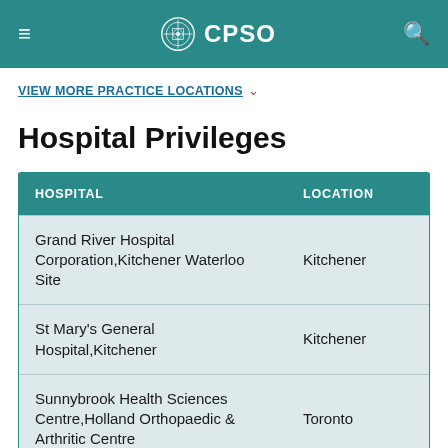CPSO
VIEW MORE PRACTICE LOCATIONS
Hospital Privileges
| HOSPITAL | LOCATION |
| --- | --- |
| Grand River Hospital Corporation,Kitchener Waterloo Site | Kitchener |
| St Mary's General Hospital,Kitchener | Kitchener |
| Sunnybrook Health Sciences Centre,Holland Orthopaedic & Arthritic Centre | Toronto |